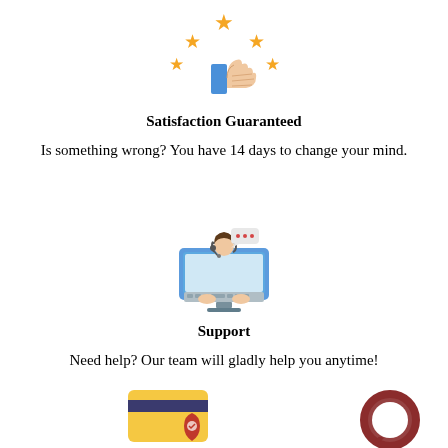[Figure (illustration): Stars and thumbs-up icon for satisfaction guarantee]
Satisfaction Guaranteed
Is something wrong? You have 14 days to change your mind.
[Figure (illustration): Customer support agent at a laptop/keyboard]
Support
Need help? Our team will gladly help you anytime!
[Figure (illustration): Credit card with security/shield icon and chat bubble icon]